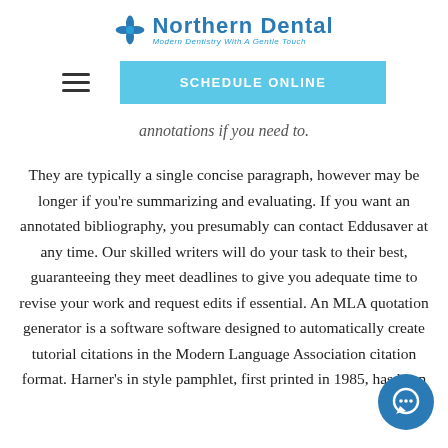[Figure (logo): Northern Dental logo with blue cross/snowflake icon, text 'Northern Dental' in bold blue, subtitle 'Modern Dentistry With A Gentle Touch' in lighter blue italic]
[Figure (other): Navigation bar with hamburger menu icon on left and 'SCHEDULE ONLINE' button in light blue on right]
annotations if you need to.
They are typically a single concise paragraph, however may be longer if you're summarizing and evaluating. If you want an annotated bibliography, you presumably can contact Eddusaver at any time. Our skilled writers will do your task to their best, guaranteeing they meet deadlines to give you adequate time to revise your work and request edits if essential. An MLA quotation generator is a software software designed to automatically create tutorial citations in the Modern Language Association citation format. Harner's in style pamphlet, first printed in 1985, has been